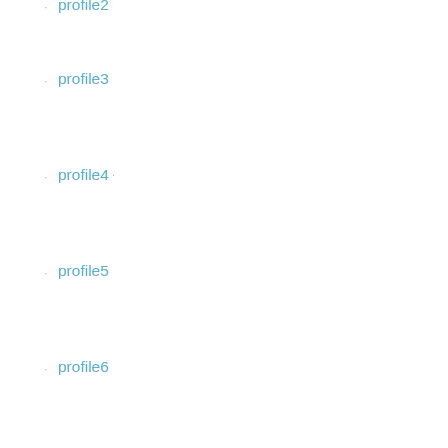profile2
profile3
profile4
profile5
profile6
profile7
profile8
"
Reply
qqqqqqqqqqqqq  July 10, 2018
links of london
ray ban sunglasses
adidas superstar shoes
chrome hearts online